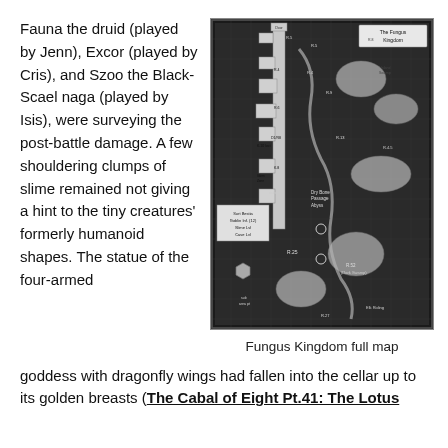Fauna the druid (played by Jenn), Excor (played by Cris), and Szoo the Black-Scael naga (played by Isis), were surveying the post-battle damage. A few shouldering clumps of slime remained not giving a hint to the tiny creatures' formerly humanoid shapes. The statue of the four-armed goddess with dragonfly wings had fallen into the cellar up to its golden breasts (The Cabal of Eight Pt.41: The Lotus
[Figure (map): A detailed black and white fantasy map labeled 'Fungus Kingdom full map', showing regions, paths, rooms, and annotations typical of a dungeon/adventure map.]
Fungus Kingdom full map